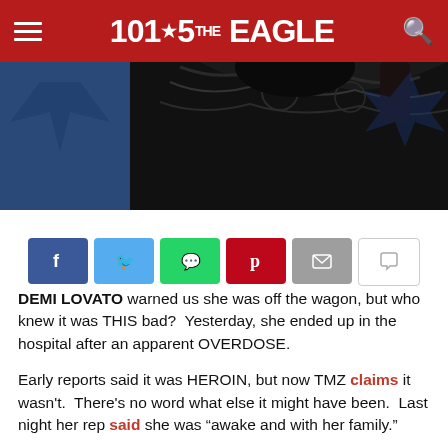101.5 THE EAGLE
[Figure (photo): Close-up photo of a person wearing black lace clothing with tattoos visible, dark hair, blue background]
[Figure (infographic): Social share buttons: Facebook (blue), Twitter (light blue), WhatsApp (green), Pinterest (red), Email (grey), Comment (white/grey outline)]
DEMI LOVATO warned us she was off the wagon, but who knew it was THIS bad?  Yesterday, she ended up in the hospital after an apparent OVERDOSE.
Early reports said it was HEROIN, but now TMZ claims it wasn't.  There's no word what else it might have been.  Last night her rep said she was "awake and with her family."
Police were called to Demi's house a little before noon, but a source says Demi and the other people there were